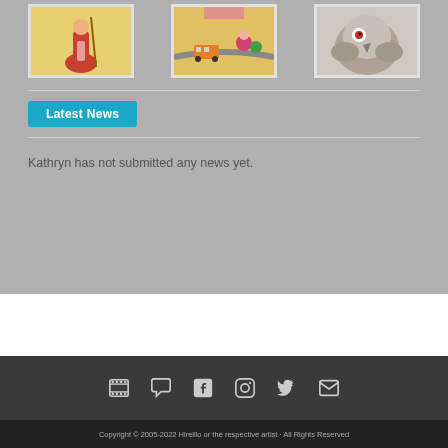[Figure (illustration): Three illustration thumbnails in a gallery row: a figure in red robe with staff on sandy background; a colorful scene with a bus and animals on a road; a close-up of a bird/animal face.]
Latest News
Kathryn has not submitted any news yet.
[Figure (infographic): Dark footer bar with six social/nav icons: film strip, speech bubbles, Facebook, Instagram, Twitter, envelope (email).]
Copyright © 2005-2022 Hireillo or the respective artist · All Rights Reserved